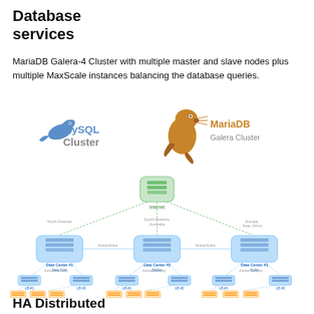Database services
MariaDB Galera-4 Cluster with multiple master and slave nodes plus multiple MaxScale instances balancing the database queries.
[Figure (logo): MySQL Cluster logo and MariaDB Galera Cluster logo side by side]
[Figure (network-graph): Network diagram showing Internet node connecting to three data centers (Data Center #1 New York - North America, Data Center #2 Dallas - South America/Australia, Data Center #3 Sofia - Europe/Asia/Africa) via Active/Active connections. Each data center connects to two load balancers (LB #1, LB #2) via Active/Standby, and each load balancer connects to three nodes (Node #1, Node #2, Node #3).]
HA Distributed